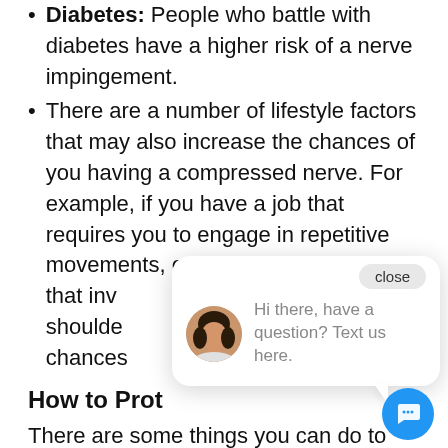Diabetes: People who battle with diabetes have a higher risk of a nerve impingement.
There are a number of lifestyle factors that may also increase the chances of you having a compressed nerve. For example, if you have a job that requires you to engage in repetitive movements, especially movements that involve your shoulders, this increases the chances...
How to Protect Yourself...
There are some things you can do to protect yourself from dealing with a compressed nerve. First, work on your